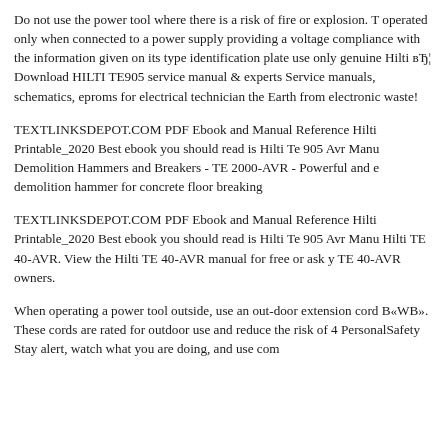Do not use the power tool where there is a risk of fire or explosion. T operated only when connected to a power supply providing a voltage compliance with the information given on its type identification plate use only genuine Hilti вЂ¦ Download HILTI TE905 service manual & experts Service manuals, schematics, eproms for electrical technician the Earth from electronic waste!
TEXTLINKSDEPOT.COM PDF Ebook and Manual Reference Hilti Printable_2020 Best ebook you should read is Hilti Te 905 Avr Manu Demolition Hammers and Breakers - TE 2000-AVR - Powerful and e demolition hammer for concrete floor breaking
TEXTLINKSDEPOT.COM PDF Ebook and Manual Reference Hilti Printable_2020 Best ebook you should read is Hilti Te 905 Avr Manu Hilti TE 40-AVR. View the Hilti TE 40-AVR manual for free or ask y TE 40-AVR owners.
When operating a power tool outside, use an out-door extension cord B«WB». These cords are rated for outdoor use and reduce the risk of 4 PersonalSafety Stay alert, watch what you are doing, and use com